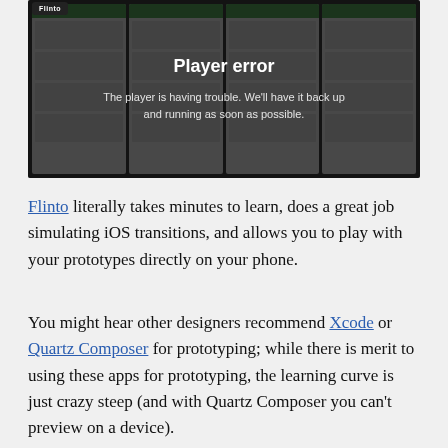[Figure (screenshot): A video/media player screenshot showing a Flinto app demo with multiple iOS screens visible behind a dark overlay. The overlay displays a 'Player error' message: 'The player is having trouble. We'll have it back up and running as soon as possible.' A black badge labeled 'Flinto' appears in the upper-left corner.]
Flinto literally takes minutes to learn, does a great job simulating iOS transitions, and allows you to play with your prototypes directly on your phone.
You might hear other designers recommend Xcode or Quartz Composer for prototyping; while there is merit to using these apps for prototyping, the learning curve is just crazy steep (and with Quartz Composer you can't preview on a device).